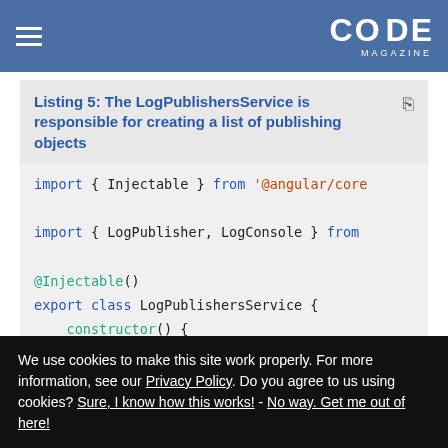CODE Magazine
Listing 5: The LogPublishersService is responsible for creating a list of publishing objects
[Figure (screenshot): Code listing showing TypeScript/Angular code: import { Injectable } from '@angular/core; import { LogPublisher, LogConsole } from ... @Injectable() export class LogPublishersService { constructor() { // Build publishers arrays]
We use cookies to make this site work properly. For more information, see our Privacy Policy. Do you agree to us using cookies? Sure, I know how this works! - No way. Get me out of here!